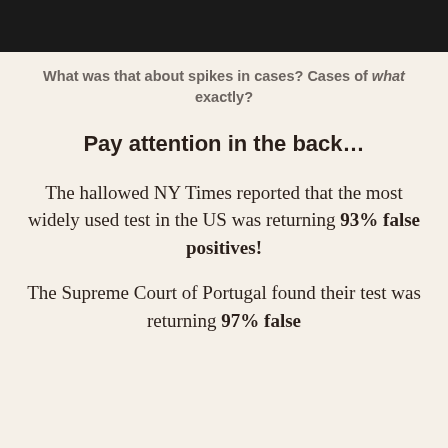[Figure (photo): Black bar at the top of the page, obscuring an image]
What was that about spikes in cases? Cases of what exactly?
Pay attention in the back…
The hallowed NY Times reported that the most widely used test in the US was returning 93% false positives!
The Supreme Court of Portugal found their test was returning 97% false